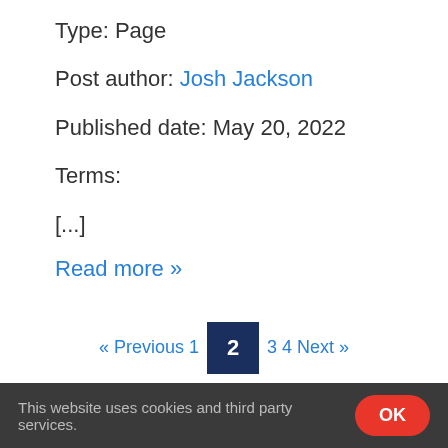Type: Page
Post author: Josh Jackson
Published date: May 20, 2022
Terms:
[...]
Read more »
« Previous 1  2  3 4 Next »
ephesians
Search
This website uses cookies and third party services.   OK